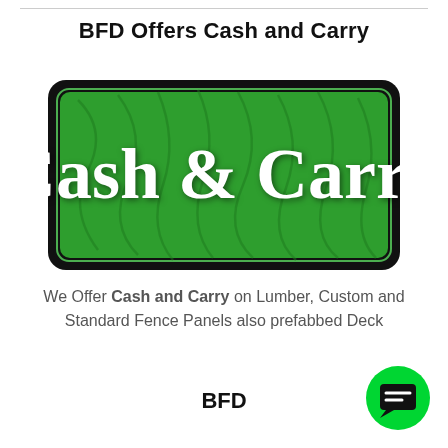BFD Offers Cash and Carry
[Figure (logo): Green Cash & Carry logo sign with black border and white script text reading 'Cash & Carry' on a green marble/wood-grain background]
We Offer Cash and Carry on Lumber, Custom and Standard Fence Panels also prefabbed Deck
BFD
[Figure (illustration): Green circular chat/message button icon with a black speech bubble symbol in the center, positioned in the bottom-right corner]